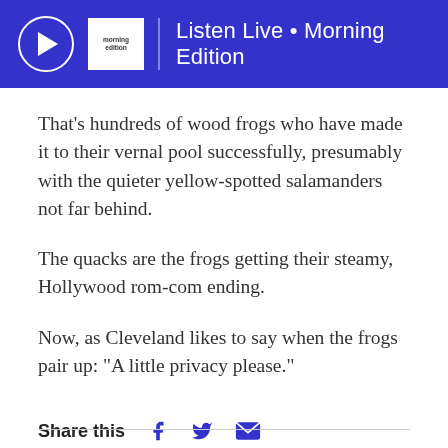Listen Live • Morning Edition
That's hundreds of wood frogs who have made it to their vernal pool successfully, presumably with the quieter yellow-spotted salamanders not far behind.
The quacks are the frogs getting their steamy, Hollywood rom-com ending.
Now, as Cleveland likes to say when the frogs pair up: “A little privacy please.”
Share this